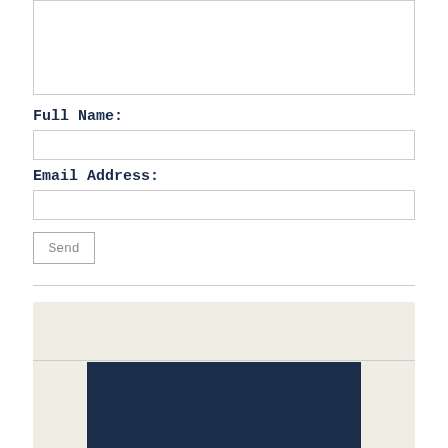[Figure (other): Text area input box (empty)]
Full Name:
[Figure (other): Full Name input field (empty text box)]
Email Address:
[Figure (other): Email Address input field (empty text box)]
Send
You May Also Like   Sponsored Content
[Figure (photo): Dark navy blue image placeholder at the bottom of the sponsored content section]